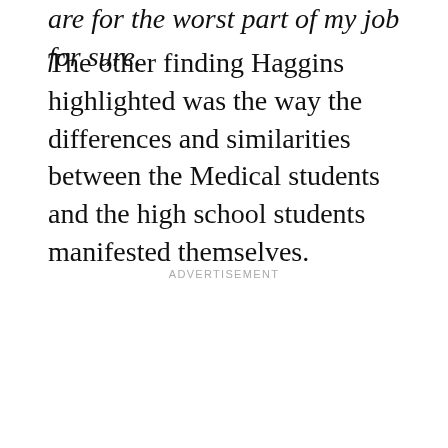are for the worst part of my job for sure.
The other finding Haggins highlighted was the way the differences and similarities between the Medical students and the high school students manifested themselves.
ADVERTISEMENT